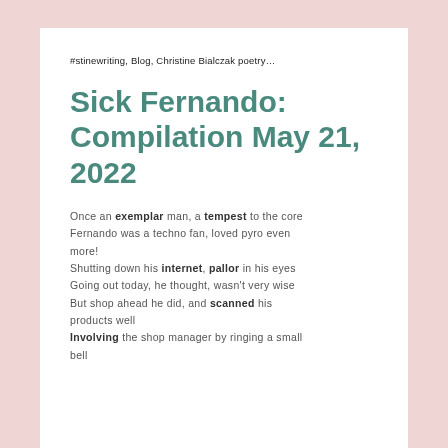#stinewriting, Blog, Christine Bialczak poetry…
Sick Fernando: Compilation May 21, 2022
Once an exemplar man, a tempest to the core Fernando was a techno fan, loved pyro even more!
Shutting down his internet, pallor in his eyes Going out today, he thought, wasn't very wise But shop ahead he did, and scanned his products well Involving the shop manager by ringing a small bell